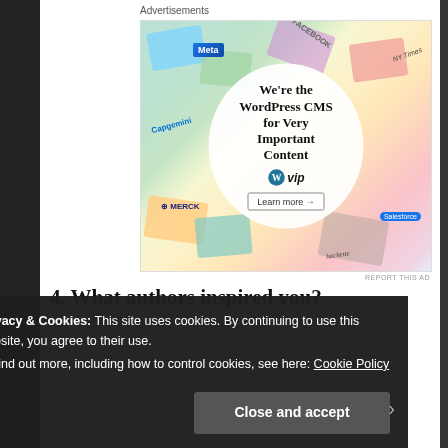Advertisements
[Figure (illustration): WordPress VIP advertisement banner showing a collage of brand logos (Meta, Facebook, Capgemini, Merck, Hachette, Salesforce) with a white circle overlay containing the text 'We're the WordPress CMS for Very Important Content' with the WordPress VIP logo and a 'Learn more' button.]
REPORT THIS AD
4. What authors inspired you?
Privacy & Cookies: This site uses cookies. By continuing to use this website, you agree to their use.
To find out more, including how to control cookies, see here: Cookie Policy
Close and accept